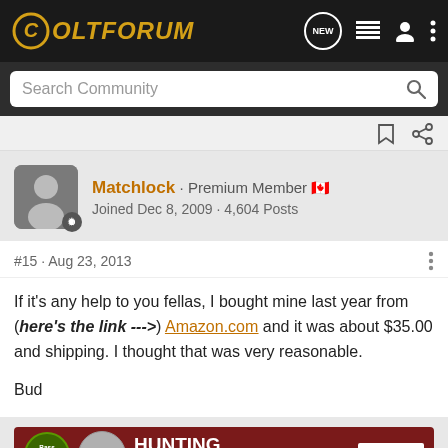ColtForum
Search Community
Matchlock · Premium Member 🇨🇦
Joined Dec 8, 2009 · 4,604 Posts
#15 · Aug 23, 2013
If it's any help to you fellas, I bought mine last year from (here's the link --->) Amazon.com and it was about $35.00 and shipping. I thought that was very reasonable.

Bud
[Figure (infographic): Bass Pro Shops Hunting Clearance Bargain Cave advertisement banner with red background and Shop Now button]